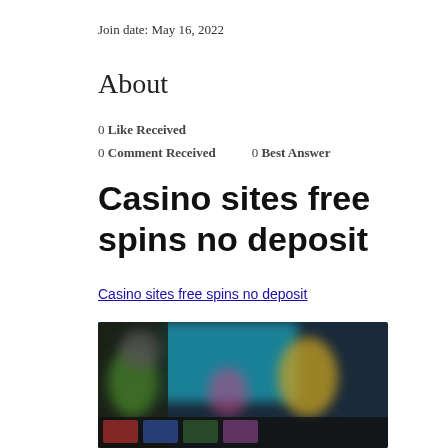Join date: May 16, 2022
About
0 Like Received
0 Comment Received    0 Best Answer
Casino sites free spins no deposit
Casino sites free spins no deposit
[Figure (photo): Blurred casino game screenshot showing colorful game thumbnails on a dark background with teal/blue tones]